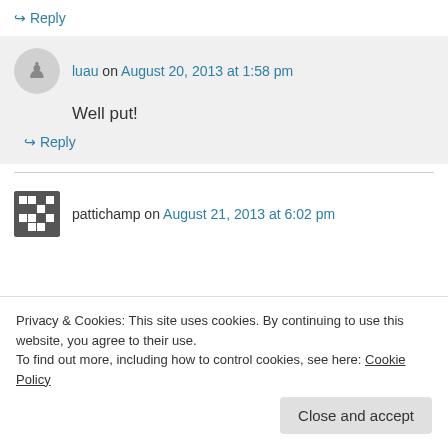↪ Reply
luau on August 20, 2013 at 1:58 pm
Well put!
↪ Reply
pattichamp on August 21, 2013 at 6:02 pm
Privacy & Cookies: This site uses cookies. By continuing to use this website, you agree to their use.
To find out more, including how to control cookies, see here: Cookie Policy
Close and accept